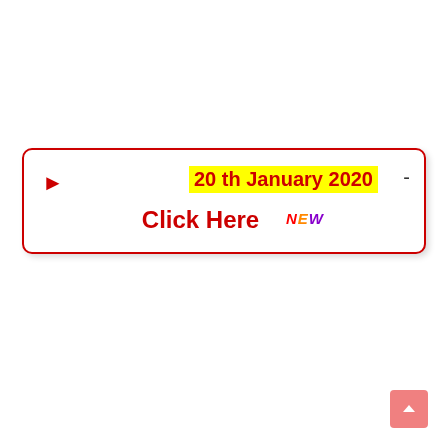[Figure (screenshot): A white rectangular box with a red rounded border and drop shadow. Inside: a red right-pointing arrow on the left, a yellow-highlighted date '20 th January 2020' in red bold text on the top right with a dash after it, and below center 'Click Here' in red bold text followed by 'NEW' in multicolor italic bold text (N=red, E=orange, W=purple). A pink scroll-to-top button appears at the bottom right of the page.]